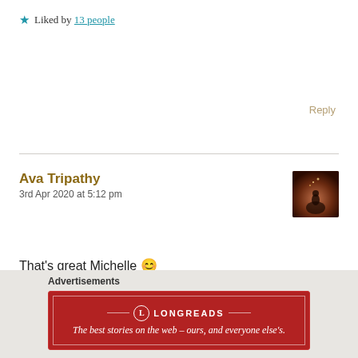★ Liked by 13 people
Reply
Ava Tripathy
3rd Apr 2020 at 5:12 pm
[Figure (photo): Avatar thumbnail showing a silhouette figure against a dark reddish-orange background]
That's great Michelle 😊
Stay safe and healthy😄
★ Liked by 2 people
Reply
Advertisements
[Figure (logo): Longreads advertisement banner: 'The best stories on the web – ours, and everyone else's.']